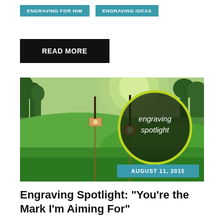ENGRAVING FOR HIM
ENGRAVING IDEAS
READ MORE
[Figure (photo): Outdoor photo of two wooden wrist watches hanging in a lush green field with bright sunlight. A dark circular overlay reads 'engraving spotlight' in white text. A teal banner reads 'AUGUST 11, 2015'.]
Engraving Spotlight: "You're the Mark I'm Aiming For"